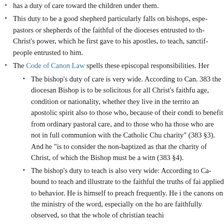has a duty of care toward the children under them.
This duty to be a good shepherd particularly falls on bishops, especially pastors or shepherds of the faithful of the dioceses entrusted to them. Christ's power, which he first gave to his apostles, to teach, sanctify people entrusted to him.
The Code of Canon Law spells these episcopal responsibilities. Her
The bishop's duty of care is very wide. According to Can. 383 the diocesan Bishop is to be solicitous for all Christ's faithful age, condition or nationality, whether they live in the territory an apostolic spirit also to those who, because of their condition to benefit from ordinary pastoral care, and to those who have those who are not in full communion with the Catholic Church charity" (383 §3). And he "is to consider the non-baptized as that the charity of Christ, of which the Bishop must be a witness (383 §4).
The bishop's duty to teach is also very wide: According to Can. bound to teach and illustrate to the faithful the truths of faith applied to behavior. He is himself to preach frequently. He is the canons on the ministry of the word, especially on the homily are faithfully observed, so that the whole of christian teaching